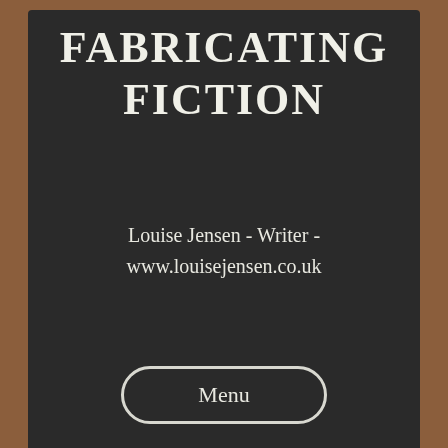[Figure (screenshot): Screenshot of 'Fabricating Fiction' website header showing a chalkboard-style banner with the site title, author name, URL, and a Menu button, overlaid by a cookie consent banner at the bottom.]
FABRICATING FICTION
Louise Jensen - Writer - www.louisejensen.co.uk
Menu
Privacy & Cookies: This site uses cookies. By continuing to use this website, you agree to their use.
To find out more, including how to control cookies, see here: Cookie Policy
Close and accept
+ Follow